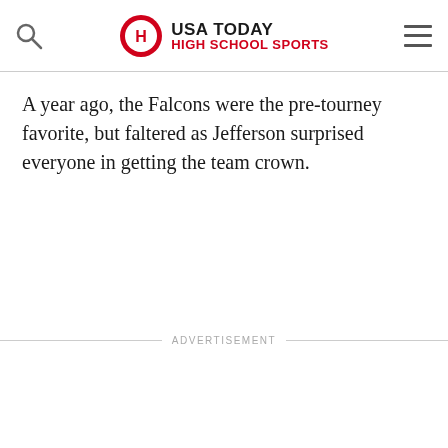USA TODAY HIGH SCHOOL SPORTS
A year ago, the Falcons were the pre-tourney favorite, but faltered as Jefferson surprised everyone in getting the team crown.